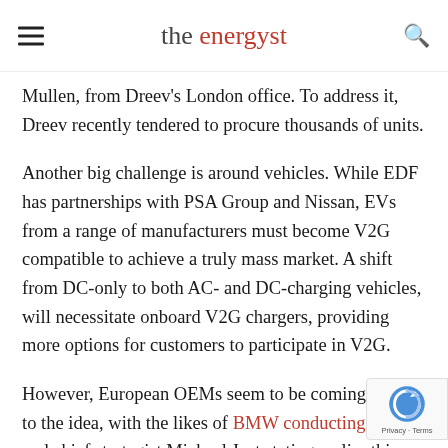the energyst
Mullen, from Dreev's London office. To address it, Dreev recently tendered to procure thousands of units.
Another big challenge is around vehicles. While EDF has partnerships with PSA Group and Nissan, EVs from a range of manufacturers must become V2G compatible to achieve a truly mass market. A shift from DC-only to both AC- and DC-charging vehicles, will necessitate onboard V2G chargers, providing more options for customers to participate in V2G.
However, European OEMs seem to be coming around to the idea, with the likes of BMW conducting trials and chief strategist Michael Jost stating earlier this year that